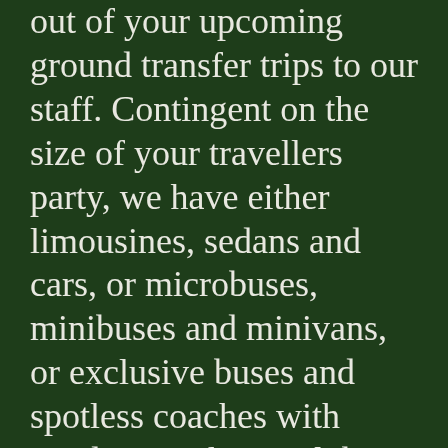out of your upcoming ground transfer trips to our staff. Contingent on the size of your travellers party, we have either limousines, sedans and cars, or microbuses, minibuses and minivans, or exclusive buses and spotless coaches with conductor. If your club needs reliable buses, you only need to ask us about availability and pricing using info@citytours-croatia.com, and accurately detailing the number of passengers in your group, the tour routing and further specifications ( like for example booster seats, hangers for excess